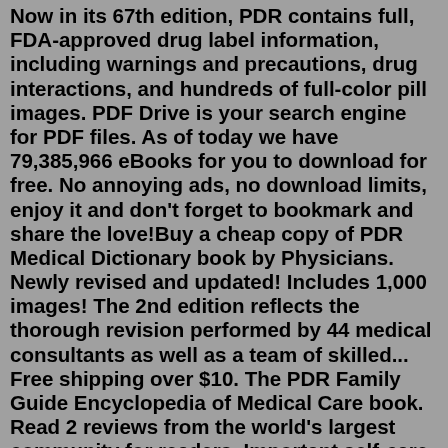Now in its 67th edition, PDR contains full, FDA-approved drug label information, including warnings and precautions, drug interactions, and hundreds of full-color pill images. PDF Drive is your search engine for PDF files. As of today we have 79,385,966 eBooks for you to download for free. No annoying ads, no download limits, enjoy it and don't forget to bookmark and share the love!Buy a cheap copy of PDR Medical Dictionary book by Physicians. Newly revised and updated! Includes 1,000 images! The 2nd edition reflects the thorough revision performed by 44 medical consultants as well as a team of skilled... Free shipping over $10. The PDR Family Guide Encyclopedia of Medical Care book. Read 2 reviews from the world's largest community for readers. Important self-care instructions a... The simple, A-to-Z listing of brand-name medications -- with convenient generic cross-references -- in THE PDR ® Pocket Guide To Prescription Drugs ™ provides all the information you need about the benefits, risks,